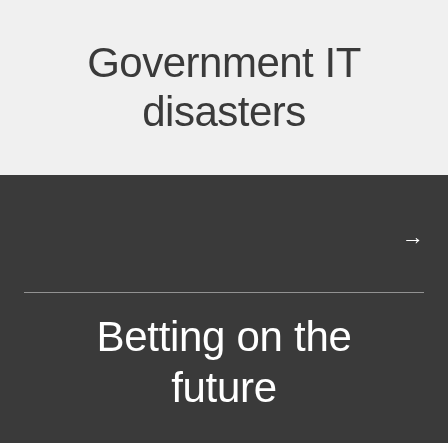Government IT disasters
Betting on the future